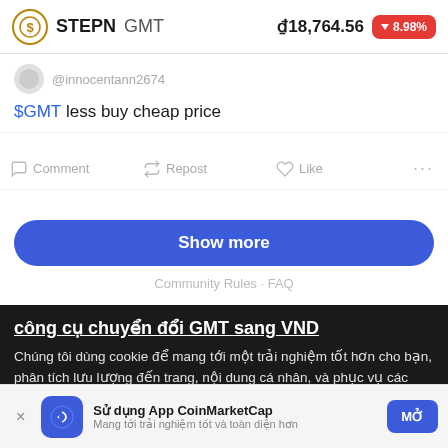STEPN GMT  ₫18,764.56  ▼8.98%
@innocentann2674
$GMT less buy cheap price
Comment  Repost  Like  ...
Show more
Community Rules · FAQ
công cụ chuyển đổi GMT sang VND
Chúng tôi dùng cookie để mang tới một trải nghiệm tốt hơn cho bạn, phân tích lưu lượng đến trang, nội dung cá nhân, và phục vụ các quảng cáo trúng đích. Hãy đọc thêm về cách chúng tôi sử dụng cookie và cách bạn có thể điều khiển chúng trong trang của chúng
Sử dụng App CoinMarketCap
Mang tới trải nghiệm tốt và toàn diện hơn